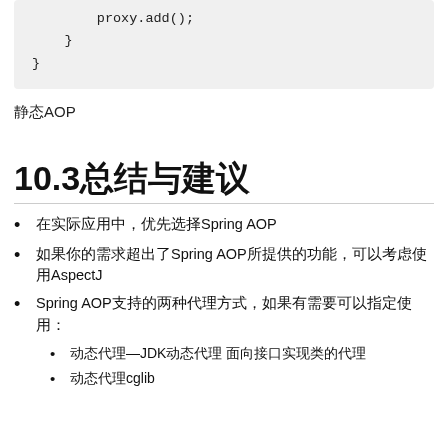proxy.add();
    }
}
静态AOP
10.3总结与建议
在实际应用中，优先选择Spring AOP
如果你的需求超出了Spring AOP所提供的功能，可以考虑使用AspectJ
Spring AOP支持的两种代理方式，如果有需要可以指定使用：
动态代理—JDK动态代理 面向接口实现类的代理
动态代理cglib